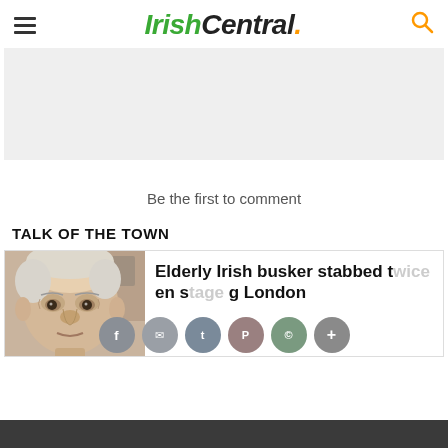IrishCentral.
[Figure (other): Advertisement placeholder banner, light grey background]
Be the first to comment
TALK OF THE TOWN
[Figure (photo): Close-up photo of an elderly man's face]
Elderly Irish busker stabbed t[wice] [on] s[tage] [durin]g London [...]